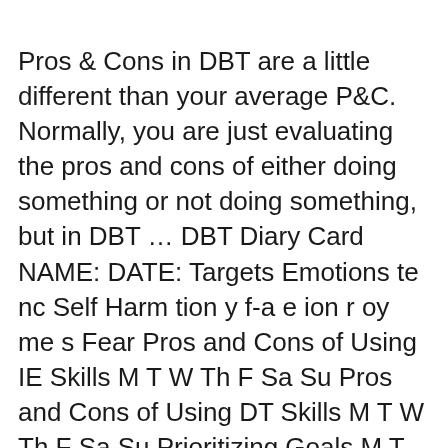Pros & Cons in DBT are a little different than your average P&C. Normally, you are just evaluating the pros and cons of either doing something or not doing something, but in DBT … DBT Diary Card NAME: DATE: Targets Emotions te nc Self Harm tion y f-a e ion r oy me s Fear Pros and Cons of Using IE Skills M T W Th F Sa Su Pros and Cons of Using DT Skills M T W Th F Sa Su Prioritizing Goals M T W Th F Sa Su TIP Skills M T W Th F Sa Su Troubleshooting IE Skills M T W Th F Sa Su Distract with Wise Mind ACCEPTS M T W Th F Sa Su Finding and Getting People to ...
Taking both the pros and cons into